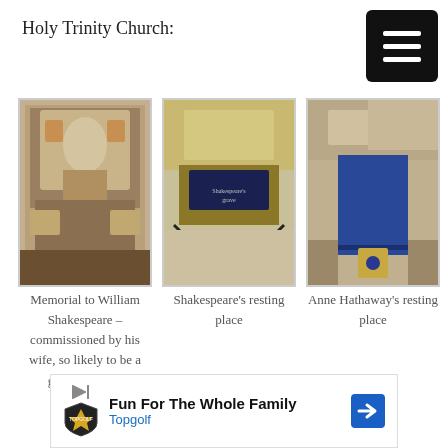Holy Trinity Church:
[Figure (photo): Photo of memorial bust of William Shakespeare on church wall]
[Figure (photo): Photo of Shakespeare's resting place with brass stand and dark plaque]
[Figure (photo): Photo of Anne Hathaway's resting place with blue carpet and gold-framed plaque]
Memorial to William Shakespeare – commissioned by his wife, so likely to be a good likeness.
Shakespeare's resting place
Anne Hathaway's resting place
[Figure (other): Advertisement: Fun For The Whole Family – Topgolf]